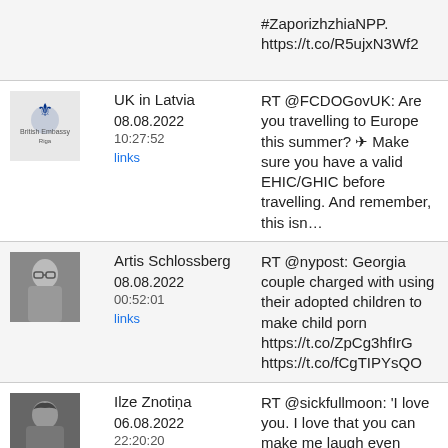#ZaporizhzhiaNPP. https://t.co/R5ujxN3Wf2
UK in Latvia
08.08.2022
10:27:52
links
RT @FCDOGovUK: Are you travelling to Europe this summer? ✈ Make sure you have a valid EHIC/GHIC before travelling. And remember, this isn…
Artis Schlossberg
08.08.2022
00:52:01
links
RT @nypost: Georgia couple charged with using their adopted children to make child porn https://t.co/ZpCg3hfIrG https://t.co/fCgTIPYsQO
Ilze Znotiņa
06.08.2022
22:20:20
links
RT @sickfullmoon: 'I love you. I love that you can make me laugh even when I don't want to. I love that you listen more